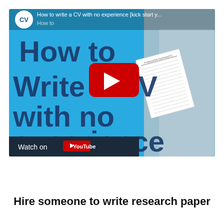[Figure (screenshot): YouTube video thumbnail showing 'How to Write a CV with no experience [kick start y...' with large bold white and dark blue text on a light blue background, a YouTube play button overlay, an image of a person holding a CV document, the CV logo in a circle top left, and a 'Watch on YouTube' bar at the bottom.]
Hire someone to write research paper